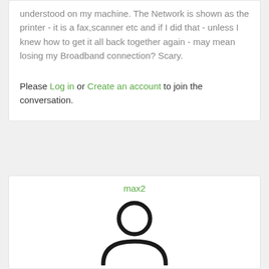understood on my machine. The Network is shown as the printer - it is a fax,scanner etc and if I did that - unless I knew how to get it all back together again - may mean losing my Broadband connection? Scary.
Please Log in or Create an account to join the conversation.
max2
[Figure (illustration): Generic user/person silhouette icon in black outline style — circle head above a half-circle body/shoulders]